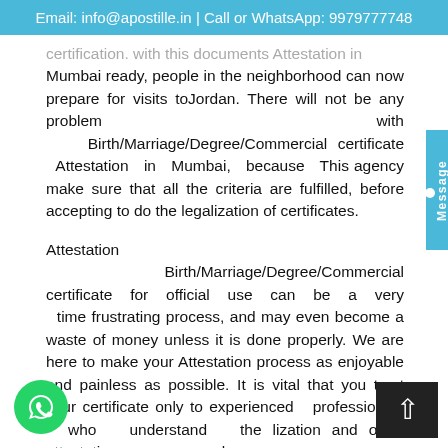Email: info@apostille.in | Call or WhatsApp: 9979777748
certification. With this documents Attestation in Mumbai ready, people in the neighborhood can now prepare for visits toJordan. There will not be any problem with Birth/Marriage/Degree/Commercial certificate Attestation in Mumbai, because This agency make sure that all the criteria are fulfilled, before accepting to do the legalization of certificates.
Attestation Birth/Marriage/Degree/Commercial certificate for official use can be a very time frustrating process, and may even become a waste of money unless it is done properly. We are here to make your Attestation process as enjoyable and painless as possible. It is vital that you trust your certificate only to experienced professionals who understand the lization and other attestation processes work.